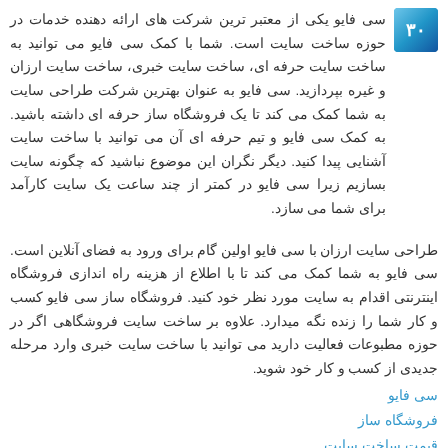[Figure (logo): Small logo image in top-left corner with blue gradient background]
سی فایو یکی از معتبر ترین شرکت های ارائه دهنده خدمات در حوزه ساخت سایت است. شما با کمک سی فایو می توانید به ساخت سایت حرفه ای، ساخت سایت خبری، ساخت سایت ارزان و غیره بپردازید. سی فایو به عنوان بهترین شرکت طراحی سایت به شما کمک می کند تا یک فروشگاه ساز حرفه ای داشته باشید. به کمک سی فایو و تیم حرفه ای آن می توانید با ساخت سایت آشنایی پیدا کنید. دیگر نگران این موضوع نباشید که چگونه سایت بسازیم زیرا سی فایو در کمتر از چند ساعت یک سایت کارآمد برای شما می سازد.
طراحی سایت ارزان با سی فایو اولین گام برای ورود به فضای آنلاین است. سی فایو به شما کمک می کند تا با اطلاع از هزینه راه اندازی فروشگاه اینترنتی اقدام به سایت مورد نظر خود کنید. فروشگاه ساز سی فایو کسب و کار شما را زنده نگه میدارد. علاوه بر ساخت سایت فروشگاهی اگر در حوزه مطبوعات فعالیت دارید می توانید با ساخت سایت خبری وارد مرحله جدیدی از کسب و کار خود شوید.
سی فایو
فروشگاه ساز
قیمت ساخت سایت
چگونه سایت بسازیم؟